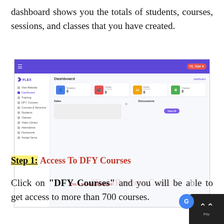dashboard shows you the totals of students, courses, sessions, and classes that you have created.
[Figure (screenshot): Screenshot of the FLEX platform main dashboard showing sidebar navigation, a purple top bar, and four statistic cards (Students: 0, Online: 0, Active: 0, Classes: 0), with Sales and Discussions sections below. A watermark reads 'HudaReview.Com' and a red caption says 'This is the main dashboard'.]
Step 1: Access To DFY Courses
Click on "DFY Courses" and you will be able to get access to more than 700 courses.